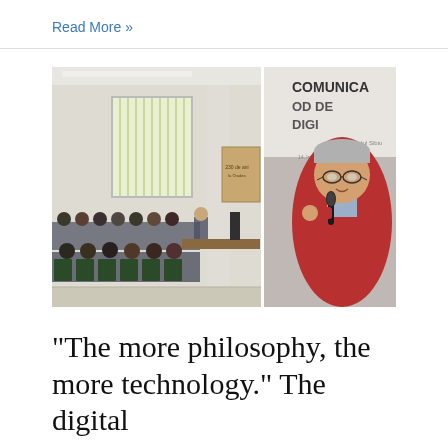Read More »
[Figure (photo): Two-panel composite photo: left panel shows an audience seated in a conference/seminar room with vertical blinds and a speaker podium; right panel shows a middle-aged man in a red sweater speaking into a microphone, with a banner reading 'COMUNICAR... OD DE DIGI...' in the background.]
“The more philosophy, the more technology.” The digital